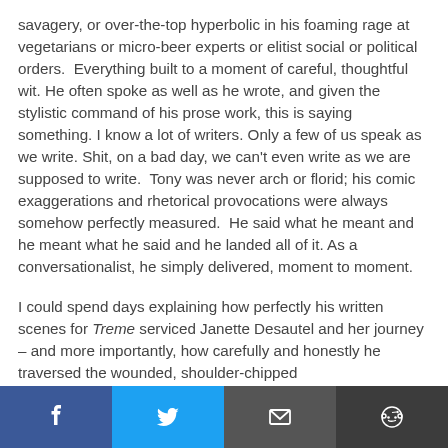savagery, or over-the-top hyperbolic in his foaming rage at vegetarians or micro-beer experts or elitist social or political orders.  Everything built to a moment of careful, thoughtful wit. He often spoke as well as he wrote, and given the stylistic command of his prose work, this is saying something. I know a lot of writers. Only a few of us speak as we write. Shit, on a bad day, we can't even write as we are supposed to write.  Tony was never arch or florid; his comic exaggerations and rhetorical provocations were always somehow perfectly measured.  He said what he meant and he meant what he said and he landed all of it. As a conversationalist, he simply delivered, moment to moment.
I could spend days explaining how perfectly his written scenes for Treme serviced Janette Desautel and her journey – and more importantly, how carefully and honestly he traversed the wounded, shoulder-chipped
[Figure (infographic): Social sharing bar with four buttons: Facebook (blue), Twitter (cyan), Email (dark gray), Reddit (dark gray)]